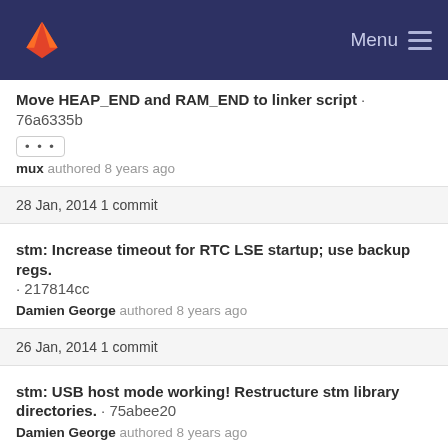[Figure (screenshot): GitLab navigation header bar with fox logo and Menu icon on dark blue background]
Move HEAP_END and RAM_END to linker script · 76a6335b
mux authored 8 years ago
28 Jan, 2014 1 commit
stm: Increase timeout for RTC LSE startup; use backup regs. · 217814cc
Damien George authored 8 years ago
26 Jan, 2014 1 commit
stm: USB host mode working! Restructure stm library directories. · 75abee20
Damien George authored 8 years ago
25 Jan, 2014 3 commits
stm: Improved ADC module; add BOARD_NAME config value. · 51f3a6be
Damien George authored 8 years ago